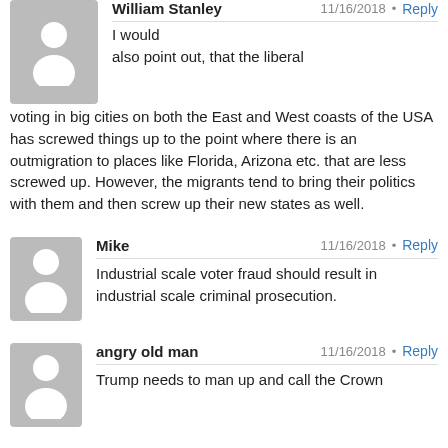[Figure (illustration): Gray avatar silhouette for William Stanley]
William Stanley
11/16/2018
I would also point out, that the liberal voting in big cities on both the East and West coasts of the USA has screwed things up to the point where there is an outmigration to places like Florida, Arizona etc. that are less screwed up. However, the migrants tend to bring their politics with them and then screw up their new states as well.
[Figure (illustration): Gray avatar silhouette for Mike]
Mike
11/16/2018
Industrial scale voter fraud should result in industrial scale criminal prosecution.
[Figure (illustration): Gray avatar silhouette for angry old man]
angry old man
11/16/2018
Trump needs to man up and call the Crown